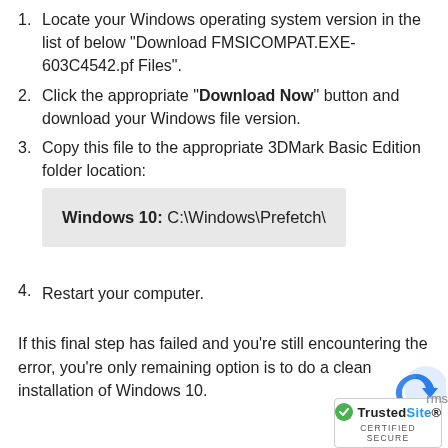1. Locate your Windows operating system version in the list of below "Download FMSICOMPAT.EXE-603C4542.pf Files".
2. Click the appropriate "Download Now" button and download your Windows file version.
3. Copy this file to the appropriate 3DMark Basic Edition folder location:
Windows 10: C:\Windows\Prefetch\
4. Restart your computer.
If this final step has failed and you're still encountering the error, you're only remaining option is to do a clean installation of Windows 10.